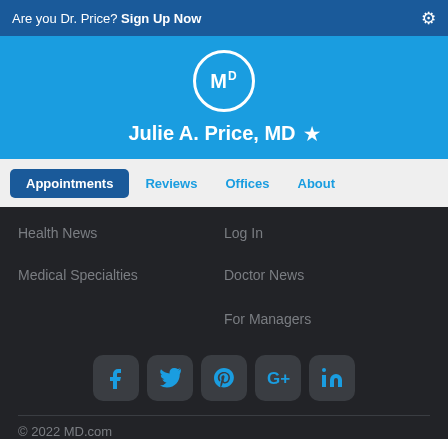Are you Dr. Price? Sign Up Now
[Figure (logo): MD.com circular logo with MD text in white on blue background]
Julie A. Price, MD ★
Appointments | Reviews | Offices | About
Health News
Log In
Medical Specialties
Doctor News
For Managers
[Figure (infographic): Social media icons row: Facebook, Twitter, Pinterest, Google+, LinkedIn]
© 2022 MD.com